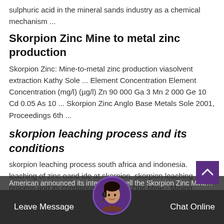sulphuric acid in the mineral sands industry as a chemical mechanism ...
Skorpion Zinc Mine to metal zinc production
Skorpion Zinc: Mine-to-metal zinc production viasolvent extraction Kathy Sole ... Element Concentration Element Concentration (mg/l) (µg/l) Zn 90 000 Ga 3 Mn 2 000 Ge 10 Cd 0.05 As 10 ... Skorpion Zinc Anglo Base Metals Sole 2001, Proceedings 6th ...
skorpion leaching process and its conditions
skorpion leaching process south africa and indonesia. leaching of zinc oand ide at skorpion. skorpion leaching process and its conditions. Skorpion Zinc Mine - Mining Technology Inaugurated in September 2003, the Skorpion zinc operation in south-west In October 2009, Anglo American announced its intention to sell the Skorpion Zinc Mine the Namib desert, and designs aimed at ...
Leave Message   Chat Online